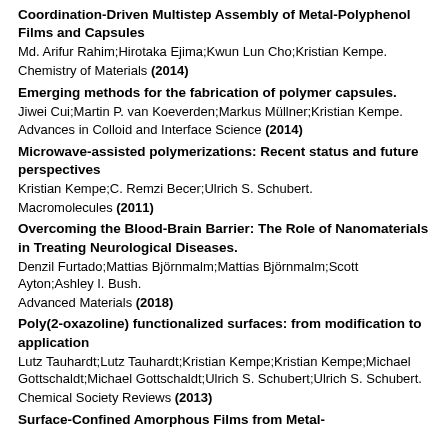Coordination-Driven Multistep Assembly of Metal-Polyphenol Films and Capsules
Md. Arifur Rahim;Hirotaka Ejima;Kwun Lun Cho;Kristian Kempe.
Chemistry of Materials (2014)
Emerging methods for the fabrication of polymer capsules.
Jiwei Cui;Martin P. van Koeverden;Markus Müllner;Kristian Kempe.
Advances in Colloid and Interface Science (2014)
Microwave-assisted polymerizations: Recent status and future perspectives
Kristian Kempe;C. Remzi Becer;Ulrich S. Schubert.
Macromolecules (2011)
Overcoming the Blood-Brain Barrier: The Role of Nanomaterials in Treating Neurological Diseases.
Denzil Furtado;Mattias Björnmalm;Mattias Björnmalm;Scott Ayton;Ashley I. Bush.
Advanced Materials (2018)
Poly(2-oxazoline) functionalized surfaces: from modification to application
Lutz Tauhardt;Lutz Tauhardt;Kristian Kempe;Kristian Kempe;Michael Gottschaldt;Michael Gottschaldt;Ulrich S. Schubert;Ulrich S. Schubert.
Chemical Society Reviews (2013)
Surface-Confined Amorphous Films from Metal-